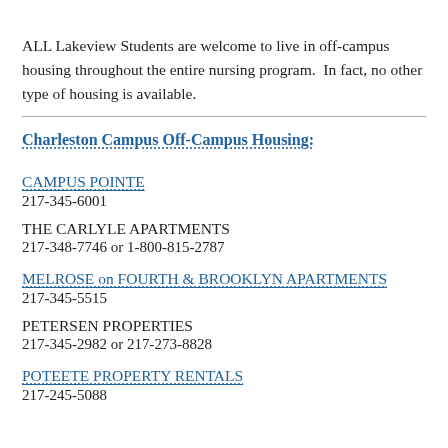ALL Lakeview Students are welcome to live in off-campus housing throughout the entire nursing program.  In fact, no other type of housing is available.
Charleston Campus Off-Campus Housing:
CAMPUS POINTE
217-345-6001
THE CARLYLE APARTMENTS
217-348-7746 or 1-800-815-2787
MELROSE on FOURTH & BROOKLYN APARTMENTS
217-345-5515
PETERSEN PROPERTIES
217-345-2982 or 217-273-8828
POTEETE PROPERTY RENTALS
217-245-5088